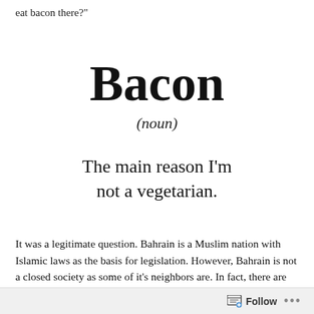eat bacon there?"
Bacon
(noun)
The main reason I'm not a vegetarian.
It was a legitimate question. Bahrain is a Muslim nation with Islamic laws as the basis for legislation. However, Bahrain is not a closed society as some of it's neighbors are. In fact, there are many people who come to Bahrain on the weekends or vacation to, let's just
Follow ...